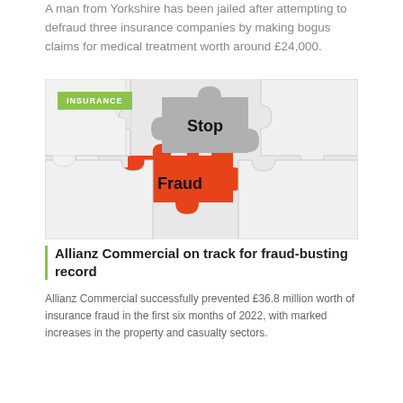A man from Yorkshire has been jailed after attempting to defraud three insurance companies by making bogus claims for medical treatment worth around £24,000.
[Figure (photo): Puzzle pieces image with 'Stop' on a grey piece and 'Fraud' on a red piece, with an INSURANCE badge overlay. Date: AUGUST 9, 2022. Comments: 0.]
Allianz Commercial on track for fraud-busting record
Allianz Commercial successfully prevented £36.8 million worth of insurance fraud in the first six months of 2022, with marked increases in the property and casualty sectors.